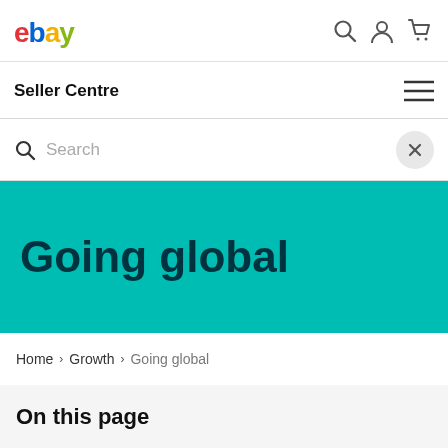ebay  Seller Centre
Search
Going global
Home > Growth > Going global
On this page